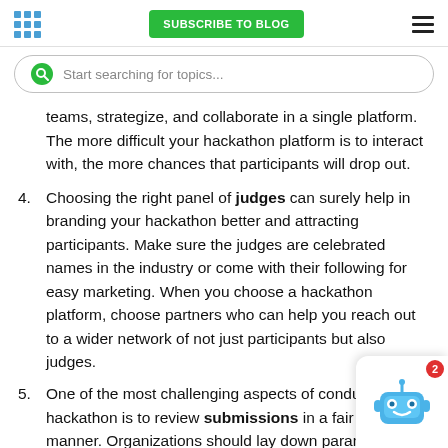SUBSCRIBE TO BLOG
Start searching for topics...
teams, strategize, and collaborate in a single platform. The more difficult your hackathon platform is to interact with, the more chances that participants will drop out.
4. Choosing the right panel of judges can surely help in branding your hackathon better and attracting participants. Make sure the judges are celebrated names in the industry or come with their following for easy marketing. When you choose a hackathon platform, choose partners who can help you reach out to a wider network of not just participants but also judges.
5. One of the most challenging aspects of conducting a hackathon is to review submissions in a fair and timely manner. Organizations should lay down parameters at